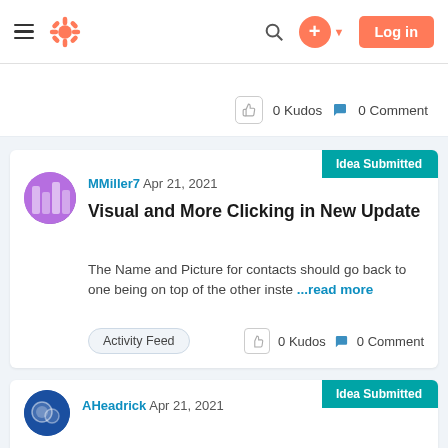HubSpot Community — Log in
0 Kudos  0 Comment
Visual and More Clicking in New Update
MMiller7  Apr 21, 2021
The Name and Picture for contacts should go back to one being on top of the other inste ...read more
Activity Feed  0 Kudos  0 Comment
AHeadrick  Apr 21, 2021